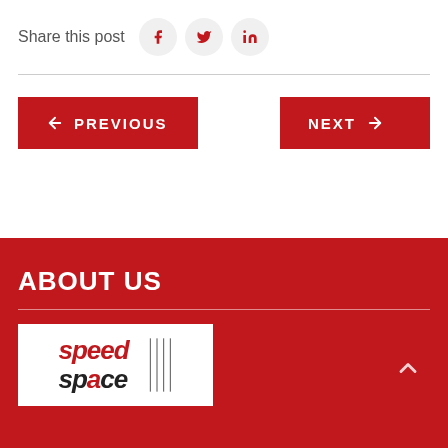Share this post
[Figure (other): Social share buttons: Facebook (f), Twitter (bird), LinkedIn (in)]
[Figure (other): Navigation buttons: PREVIOUS (left arrow) and NEXT (right arrow), both red]
ABOUT US
[Figure (logo): Speed Space logo in red and black italic text on white background]